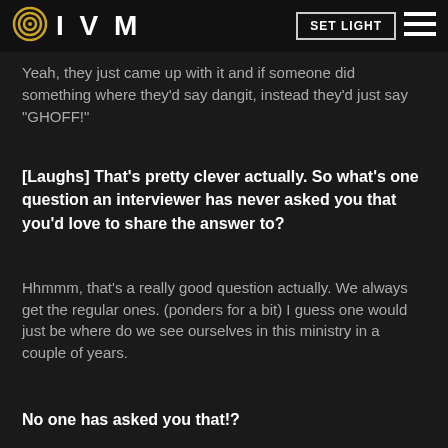IVM | SET LIGHT
Yeah, they just came up with it and if someone did something where they'd say dangit, instead they'd just say "GHOFF!"
[Laughs] That's pretty clever actually. So what's one question an interviewer has never asked you that you'd love to share the answer to?
Hhmmm, that's a really good question actually. We always get the regular ones. (ponders for a bit) I guess one would just be where do we see ourselves in this ministry in a couple of years.
No one has asked you that!?